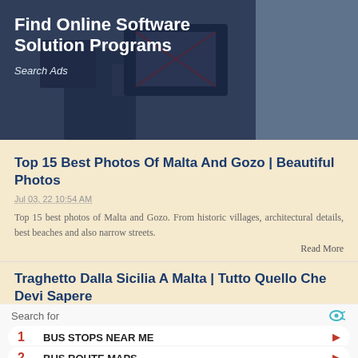[Figure (photo): Advertisement banner with dark overlay showing people at computers. Text: 'Find Online Software Solution Programs' and 'Search Ads']
Top 15 Best Photos Of Malta And Gozo | Beautiful Photos
Jul 03, 22 10:54 AM
Top 15 best photos of Malta and Gozo. From historic villages, architectural details, best beaches and also narrow streets.
Read More
Traghetto Dalla Sicilia A Malta | Tutto Quello Che Devi Sapere
Jul 03, 22 10:39 AM
Search for
1 BUS STOPS NEAR ME
2 BUS ROUTE MAPS